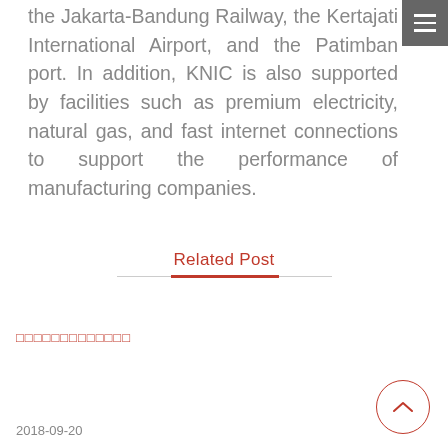the Jakarta-Bandung Railway, the Kertajati International Airport, and the Patimban port. In addition, KNIC is also supported by facilities such as premium electricity, natural gas, and fast internet connections to support the performance of manufacturing companies.
Related Post
□□□□□□□□□□□□□
2018-09-20